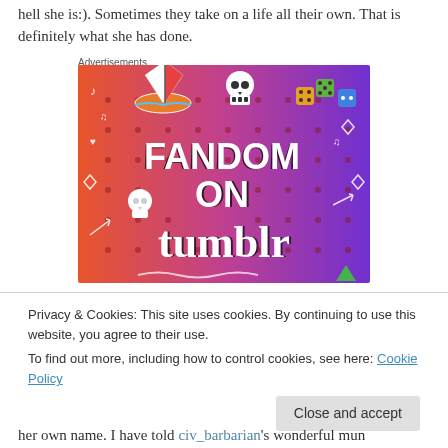hell she is:). Sometimes they take on a life all their own. That is definitely what she has done.
Advertisements
[Figure (illustration): Fandom on Tumblr advertisement banner with colorful gradient background (orange to purple) featuring doodles, a sailboat sticker, skull icons, dice, the text FANDOM ON tumblr in large stylized letters.]
Privacy & Cookies: This site uses cookies. By continuing to use this website, you agree to their use.
To find out more, including how to control cookies, see here: Cookie Policy
her own name. I have told civ_barbarian's wonderful mun